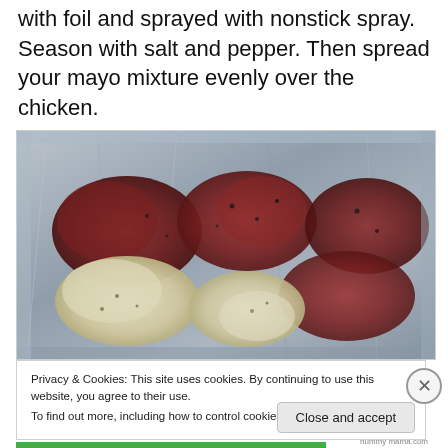with foil and sprayed with nonstick spray. Season with salt and pepper. Then spread your mayo mixture evenly over the chicken.
[Figure (photo): Raw chicken pieces on a foil-lined baking tray with mayo mixture spread on top, viewed from above.]
Privacy & Cookies: This site uses cookies. By continuing to use this website, you agree to their use.
To find out more, including how to control cookies, see here: Cookie Policy